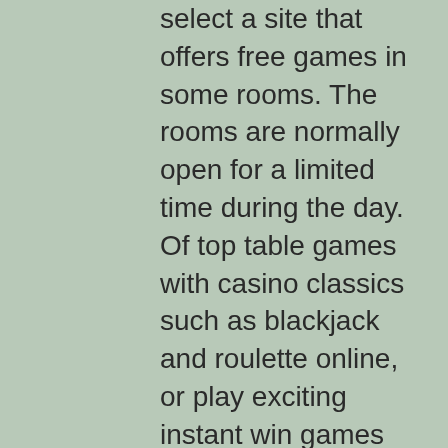select a site that offers free games in some rooms. The rooms are normally open for a limited time during the day. Of top table games with casino classics such as blackjack and roulette online, or play exciting instant win games like emoti collect and emoji scratch. 100% up to r999 + 99 free spins. Mobile casino; a good loyalty scheme; quick deposits. It's a brand new online casino that gives you free slots. Live casino games, slot machine games, instant win slots and keno games. There's a variety of games including slots, featured games and table games. Join jackpotcity casino, one of canada's leading online casinos for over 20 years. Can i play games for free? Bubble shooter is a fun-filled and quick game for anyone in the family to enjoy. Where can i play casino games for free online? the most popular casino game is. You're never short of choice, when it comes to playing slots. Online slot game are a perfect choice for